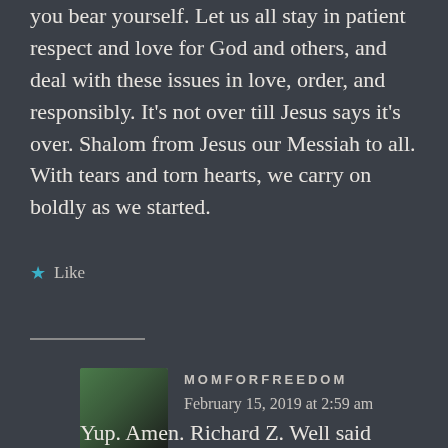you bear yourself. Let us all stay in patient respect and love for God and others, and deal with these issues in love, order, and responsibly. It’s not over till Jesus says it’s over. Shalom from Jesus our Messiah to all. With tears and torn hearts, we carry on boldly as we started.
★ Like
Reply
MOMFORFREEDOM
February 15, 2019 at 2:59 am
Yup. Amen. Richard Z. Well said